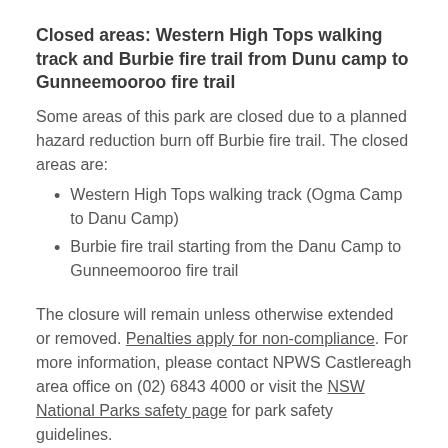Closed areas: Western High Tops walking track and Burbie fire trail from Dunu camp to Gunneemooroo fire trail
Some areas of this park are closed due to a planned hazard reduction burn off Burbie fire trail. The closed areas are:
Western High Tops walking track (Ogma Camp to Danu Camp)
Burbie fire trail starting from the Danu Camp to Gunneemooroo fire trail
The closure will remain unless otherwise extended or removed. Penalties apply for non-compliance. For more information, please contact NPWS Castlereagh area office on (02) 6843 4000 or visit the NSW National Parks safety page for park safety guidelines.